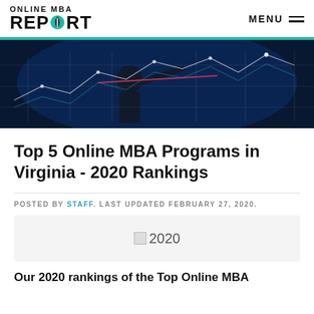ONLINE MBA REPORT — MENU
[Figure (photo): Person writing on a large screen covered with charts, graphs, and data visualizations in a dark blue-lit setting]
Top 5 Online MBA Programs in Virginia - 2020 Rankings
POSTED BY STAFF. LAST UPDATED FEBRUARY 27, 2020.
[Figure (illustration): 2020 badge/seal image (broken image icon showing '2020')]
Our 2020 rankings of the Top Online MBA